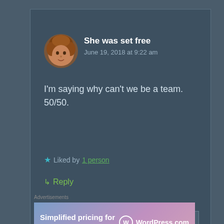She was set free
June 19, 2018 at 9:22 am
I'm saying why can't we be a team. 50/50.
Liked by 1 person
Reply
Advertisements
Simplified pricing for everything you need.
WordPress.com